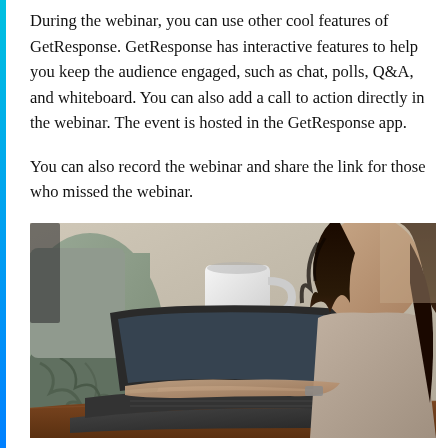During the webinar, you can use other cool features of GetResponse. GetResponse has interactive features to help you keep the audience engaged, such as chat, polls, Q&A, and whiteboard. You can also add a call to action directly in the webinar. The event is hosted in the GetResponse app.
You can also record the webinar and share the link for those who missed the webinar.
[Figure (photo): Photo of two people in an office setting. On the left, a person in a grey-green long-sleeve shirt with a tattooed arm holding a white coffee mug. On the right, a woman with long dark curly hair wearing a beige top, typing on a laptop on a wooden desk.]